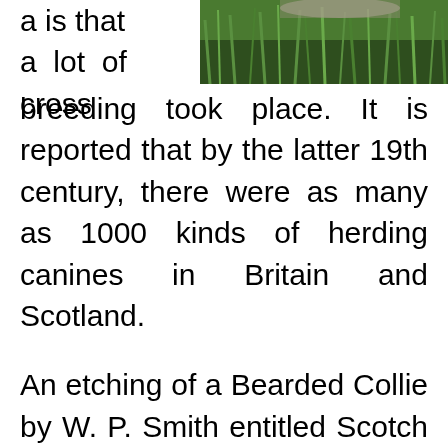[Figure (photo): Partial photo of a dog in green grass, visible in the top-right portion of the page]
a is that a lot of cross breeding took place. It is reported that by the latter 19th century, there were as many as 1000 kinds of herding canines in Britain and Scotland.
An etching of a Bearded Collie by W. P. Smith entitled Scotch Colly (circa 1844) appeared in Jesse's Anecdotes in 1846. A piece of artwork by W. Barrard done in 1854 portrays a Bearded Collie. D.J. Thompson Gray wrote Dogs of Scotland in 1891 and rehearsed the Bearded Collie.
There was a request to exhibit the Bearded